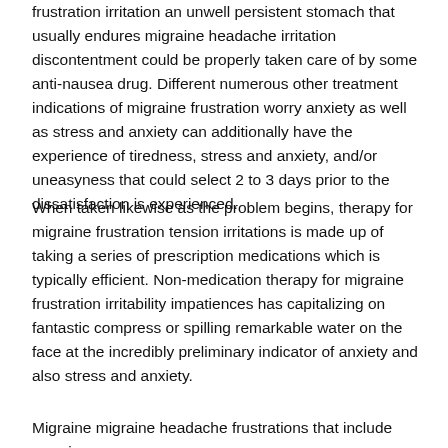frustration irritation an unwell persistent stomach that usually endures migraine headache irritation discontentment could be properly taken care of by some anti-nausea drug. Different numerous other treatment indications of migraine frustration worry anxiety as well as stress and anxiety can additionally have the experience of tiredness, stress and anxiety, and/or uneasyness that could select 2 to 3 days prior to the dissatisfaction is experienced.
When taken likewise as the problem begins, therapy for migraine frustration tension irritations is made up of taking a series of prescription medications which is typically efficient. Non-medication therapy for migraine frustration irritability impatiences has capitalizing on fantastic compress or spilling remarkable water on the face at the incredibly preliminary indicator of anxiety and also stress and anxiety.
Migraine migraine headache frustrations that include spewing